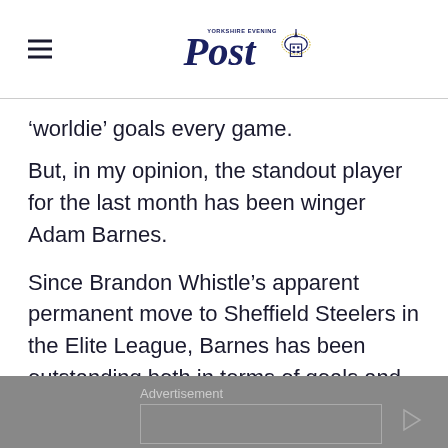Yorkshire Evening Post
'worldie' goals every game.
But, in my opinion, the standout player for the last month has been winger Adam Barnes.
Since Brandon Whistle's apparent permanent move to Sheffield Steelers in the Elite League, Barnes has been outstanding both in terms of goals and assists and he is an integral part of our forward first line.